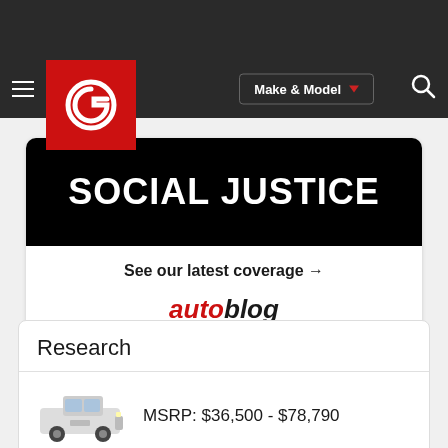[Figure (screenshot): Website screenshot showing an automotive website (similar to CarGurus) with navigation bar, social justice ad from Autoblog, and Research section with a Ram truck listing. MSRP: $36,500 - $78,790.]